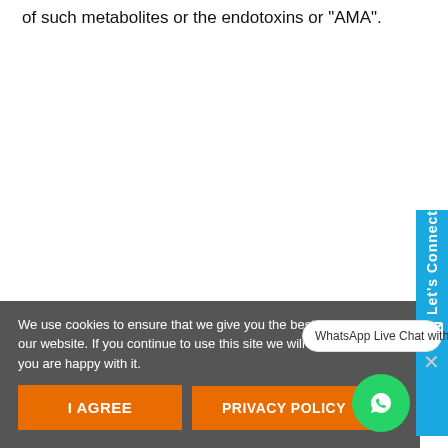of such metabolites or the endotoxins or "AMA".
We use cookies to ensure that we give you the best experience on our website. If you continue to use this site we will assume that you are happy with it.
I AGREE
PRIVACY POLICY
WhatsApp Live Chat with our Experts
Let's Connect